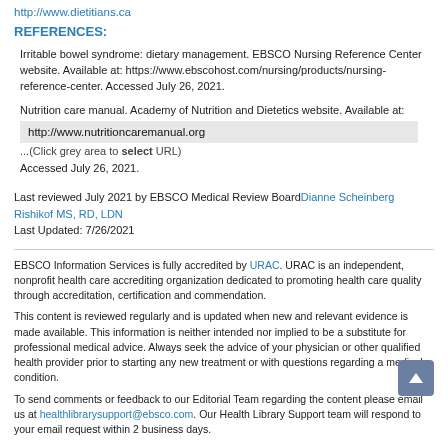http://www.dietitians.ca
REFERENCES:
Irritable bowel syndrome: dietary management. EBSCO Nursing Reference Center website. Available at: https://www.ebscohost.com/nursing/products/nursing-reference-center. Accessed July 26, 2021.
Nutrition care manual. Academy of Nutrition and Dietetics website. Available at: http://www.nutritioncaremanual.org ...(Click grey area to select URL) Accessed July 26, 2021.
Last reviewed July 2021 by EBSCO Medical Review BoardDianne Scheinberg Rishikof MS, RD, LDN
Last Updated: 7/26/2021
EBSCO Information Services is fully accredited by URAC. URAC is an independent, nonprofit health care accrediting organization dedicated to promoting health care quality through accreditation, certification and commendation.
This content is reviewed regularly and is updated when new and relevant evidence is made available. This information is neither intended nor implied to be a substitute for professional medical advice. Always seek the advice of your physician or other qualified health provider prior to starting any new treatment or with questions regarding a medical condition.
To send comments or feedback to our Editorial Team regarding the content please email us at healthlibrarysupport@ebsco.com. Our Health Library Support team will respond to your email request within 2 business days.